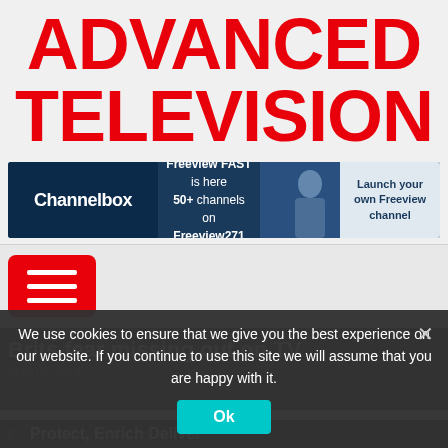ADVANCED TELEVISION
[Figure (screenshot): Channelbox advertisement banner: 'Channelbox — Freeview FAST is here 50+ channels on Freeview271 — Launch your own Freeview channel']
[Figure (other): Red hamburger/menu button icon]
Brits fear missing out on TV
May 18, 2018
We use cookies to ensure that we give you the best experience on our website. If you continue to use this site we will assume that you are happy with it.
Ok
Protect, Enrich Deliver